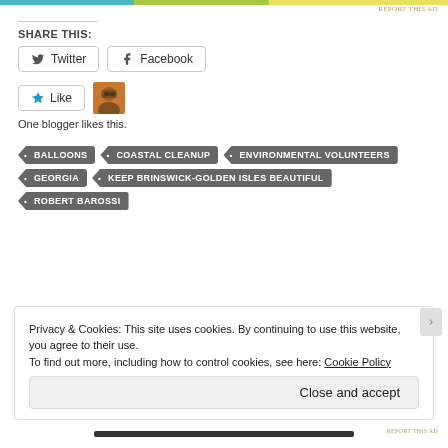[Figure (other): Top decorative color bar (teal, green, yellow gradient) with REPORT THIS AD label]
SHARE THIS:
[Figure (other): Twitter share button with bird icon]
[Figure (other): Facebook share button with f icon]
[Figure (other): Star Like button]
[Figure (photo): Small avatar/profile photo thumbnail of a person wearing sunglasses]
One blogger likes this.
BALLOONS
COASTAL CLEANUP
ENVIRONMENTAL VOLUNTEERS
GEORGIA
KEEP BRINSWICK-GOLDEN ISLES BEAUTIFUL
ROBERT BAROSSI
Privacy & Cookies: This site uses cookies. By continuing to use this website, you agree to their use. To find out more, including how to control cookies, see here: Cookie Policy
Close and accept